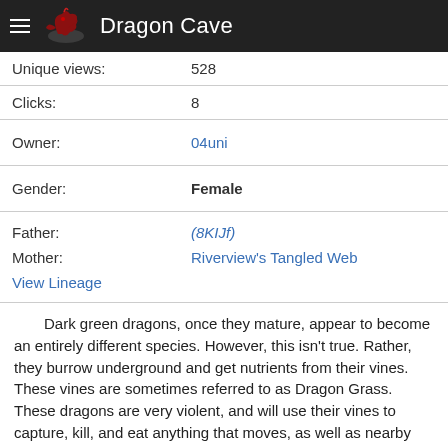Dragon Cave
| Unique views: | 528 |
| Clicks: | 8 |
| Owner: | 04uni |
| Gender: | Female |
| Father: | (8KIJf) |
| Mother: | Riverview's Tangled Web |
View Lineage
Dark green dragons, once they mature, appear to become an entirely different species. However, this isn't true. Rather, they burrow underground and get nutrients from their vines. These vines are sometimes referred to as Dragon Grass. These dragons are very violent, and will use their vines to capture, kill, and eat anything that moves, as well as nearby plants. Luckily, their range is limited and they cannot use magic. Dark green dragons tend to be easy to spot since they usually kill all plants around them and thus are usually surrounded by a large clearing.